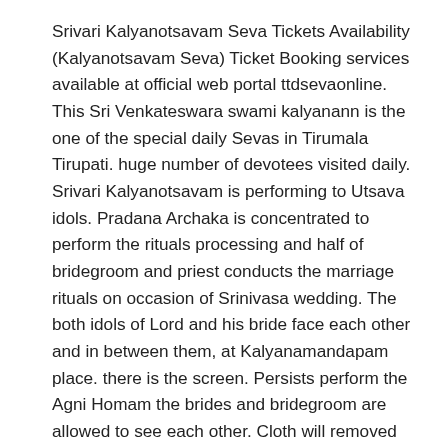Srivari Kalyanotsavam Seva Tickets Availability (Kalyanotsavam Seva) Ticket Booking services available at official web portal ttdsevaonline. This Sri Venkateswara swami kalyanann is the one of the special daily Sevas in Tirumala Tirupati. huge number of devotees visited daily. Srivari Kalyanotsavam is performing to Utsava idols. Pradana Archaka is concentrated to perform the rituals processing and half of bridegroom and priest conducts the marriage rituals on occasion of Srinivasa wedding. The both idols of Lord and his bride face each other and in between them, at Kalyanamandapam place. there is the screen. Persists perform the Agni Homam the brides and bridegroom are allowed to see each other. Cloth will removed while chanting Vedas. After that Mangala Sutra dharana and Tahlambralu followed. process of kalyanostavam very unique while comparing with TTD Arjitha Seva,